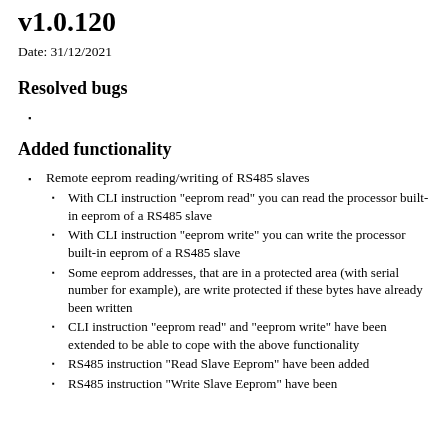v1.0.120
Date: 31/12/2021
Resolved bugs
Added functionality
Remote eeprom reading/writing of RS485 slaves
With CLI instruction "eeprom read" you can read the processor built-in eeprom of a RS485 slave
With CLI instruction "eeprom write" you can write the processor built-in eeprom of a RS485 slave
Some eeprom addresses, that are in a protected area (with serial number for example), are write protected if these bytes have already been written
CLI instruction "eeprom read" and "eeprom write" have been extended to be able to cope with the above functionality
RS485 instruction "Read Slave Eeprom" have been added
RS485 instruction "Write Slave Eeprom" have been added